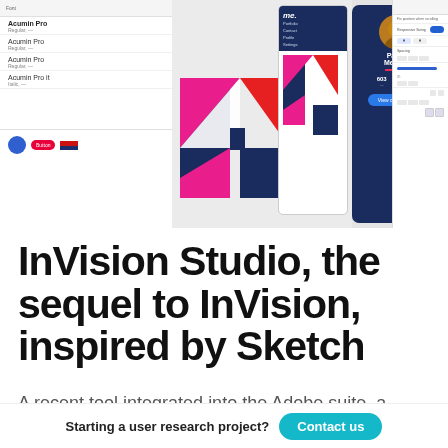[Figure (screenshot): Screenshot of InVision Studio UI showing design canvas with left panel (font list: Acumin Pro), center design area with geometric shapes (pink, red, navy triangles/blocks) and phone mockup with navigation, and right phone showing profile page for Paula Meyers, plus right properties panel]
InVision Studio, the sequel to InVision, inspired by Sketch
A recent tool integrated into the Adobe suite, a similar approach to Figma and more advanced
Starting a user research project?
Contact us